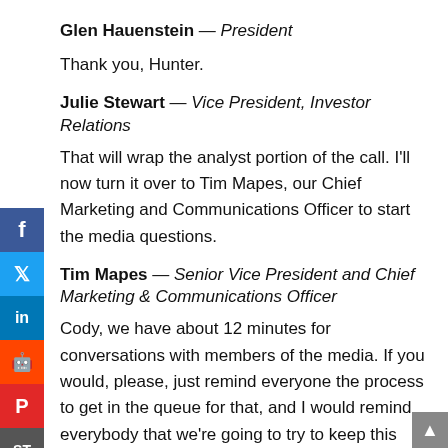Glen Hauenstein — President
Thank you, Hunter.
Julie Stewart — Vice President, Investor Relations
That will wrap the analyst portion of the call. I'll now turn it over to Tim Mapes, our Chief Marketing and Communications Officer to start the media questions.
Tim Mapes — Senior Vice President and Chief Marketing & Communications Officer
Cody, we have about 12 minutes for conversations with members of the media. If you would, please, just remind everyone the process to get in the queue for that, and I would remind everybody that we're going to try to keep this moving and do one question with one